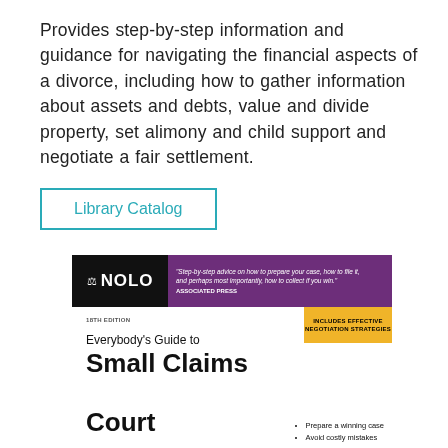Provides step-by-step information and guidance for navigating the financial aspects of a divorce, including how to gather information about assets and debts, value and divide property, set alimony and child support and negotiate a fair settlement.
Library Catalog
[Figure (illustration): Book cover for 'Everybody's Guide to Small Claims Court', 18th Edition, published by NOLO. Purple top bar with NOLO logo and a quote from Associated Press. Yellow badge reading 'INCLUDES EFFECTIVE NEGOTIATION STRATEGIES'. Bullet points: Prepare a winning case, Avoid costly mistakes.]